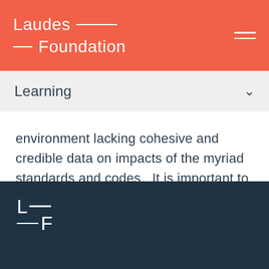Laudes Foundation
Learning
environment lacking cohesive and credible data on impacts of the myriad standards and codes.  It is important to have single frames of references and entry points for brands and retailers to navigate through the different codes and standards
LF logo mark